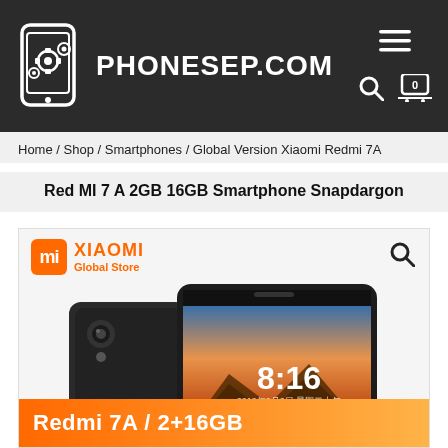PHONESEP.COM
Home / Shop / Smartphones / Global Version Xiaomi Redmi 7A
Red MI 7 A 2GB 16GB Smartphone Snapdargon
[Figure (screenshot): Xiaomi Global Store product image showing Redmi 7A smartphone in black color with screen displaying 8:16 time, with Redmi 7A / 2+16GB banner at bottom]